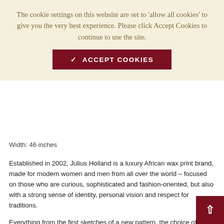The cookie settings on this website are set to 'allow all cookies' to give you the very best experience. Please click Accept Cookies to continue to use the site.
✓ ACCEPT COOKIES
Width: 46 inches
Established in 2002, Julius Holland is a luxury African wax print brand, made for modern women and men from all over the world – focused on those who are curious, sophisticated and fashion-oriented, but also with a strong sense of identity, personal vision and respect for traditions.
Everything from the first sketches of a new pattern, the choice of the colour ranges, fabric and finish is done in-house by professional teams in Holland.
Julius Holland is designed for clients around the world. It is unique in its own right by using a personal sense and well-established experience to create beautiful prints. Julius Holland is made for everyone and every day: women and men dress themselves in these beautiful fabrics, mixing various